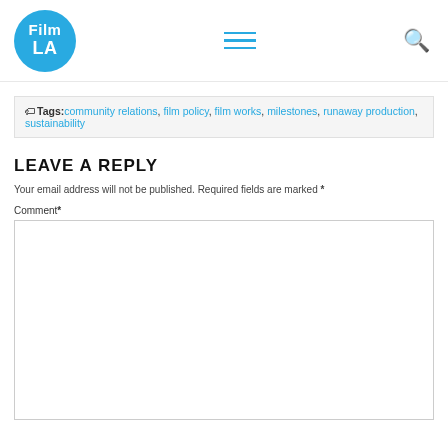FilmLA logo, navigation hamburger menu, search icon
Tags: community relations, film policy, film works, milestones, runaway production, sustainability
LEAVE A REPLY
Your email address will not be published. Required fields are marked *
Comment*